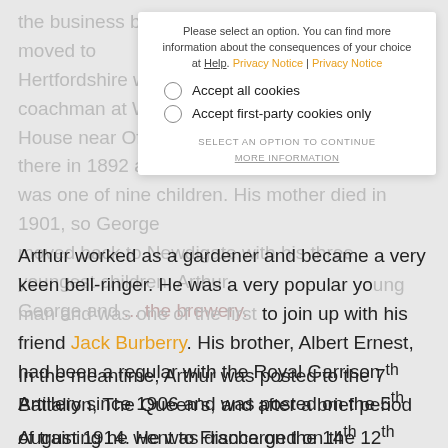the business but his parents, George and Kate moved to Hertfordshire where George took a job as coachman at Wellbury House near Offley. Arthur Henry Monk was born there in 1892 and was one of nine children. His mother died in 1901, so George moved back to Newdigate with his three youngest children, Arthur, George and ... the brewery.
[Figure (screenshot): Cookie consent dialog overlay with message: 'Please select an option. You can find more information about the consequences of your choice at Help. Privacy Notice | Privacy Notice'. Two radio button options: 'Accept all cookies' and 'Accept first-party cookies only'. Buttons: 'SELECT AN OPTION TO CONTINUE' and 'MORE INFORMATION'.]
Arthur worked as a gardener and became a very keen bell-ringer. He was a very popular young man and was one of the first to join up with his friend Jack Burberry. His brother, Albert Ernest, had been a regular with the Royal Garrison Artillery since 1906 and was posted on the 5th August 1914. He was discharged on the 12th October as no longer physically fit for war service as he was suffering from myalgia.
In the meantime, Arthur was posted to the 7th Battalion, The Queen's, and after a brief period of training he went to France on the 14th December 1914.